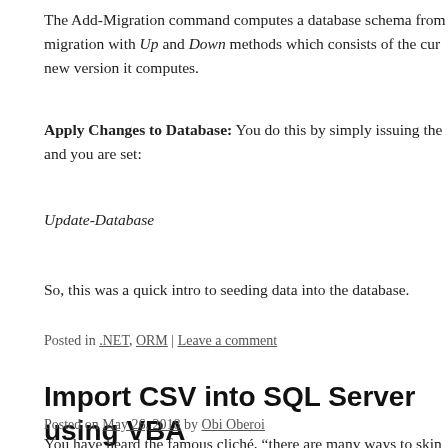The Add-Migration command computes a database schema from migration with Up and Down methods which consists of the current new version it computes.
Apply Changes to Database: You do this by simply issuing the and you are set:
Update-Database
So, this was a quick intro to seeding data into the database.
Posted in .NET, ORM | Leave a comment
Import CSV into SQL Server using VBA
Posted on May 26, 2018 by Obi Oberoi
You have heard the famous cliché, “there are many ways to skin